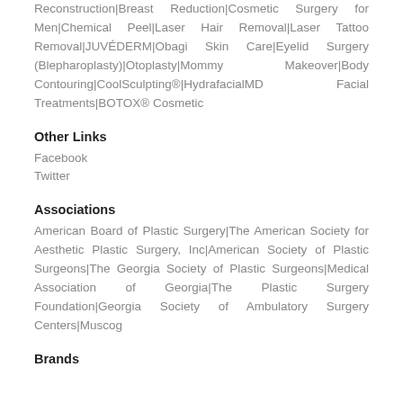Reconstruction|Breast Reduction|Cosmetic Surgery for Men|Chemical Peel|Laser Hair Removal|Laser Tattoo Removal|JUVÉDERM|Obagi Skin Care|Eyelid Surgery (Blepharoplasty)|Otoplasty|Mommy Makeover|Body Contouring|CoolSculpting®|HydrafacialMD Facial Treatments|BOTOX® Cosmetic
Other Links
Facebook
Twitter
Associations
American Board of Plastic Surgery|The American Society for Aesthetic Plastic Surgery, Inc|American Society of Plastic Surgeons|The Georgia Society of Plastic Surgeons|Medical Association of Georgia|The Plastic Surgery Foundation|Georgia Society of Ambulatory Surgery Centers|Muscog
Brands